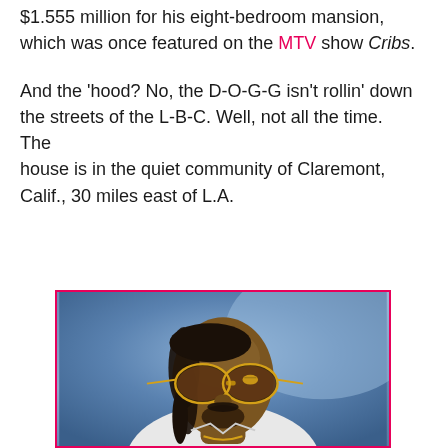$1.555 million for his eight-bedroom mansion, which was once featured on the MTV show Cribs.
And the 'hood? No, the D-O-G-G isn't rollin' down the streets of the L-B-C. Well, not all the time. The house is in the quiet community of Claremont, Calif., 30 miles east of L.A.
[Figure (photo): Photo of Snoop Dogg wearing gold-frame aviator sunglasses and a white outfit, against a blue blurred background]